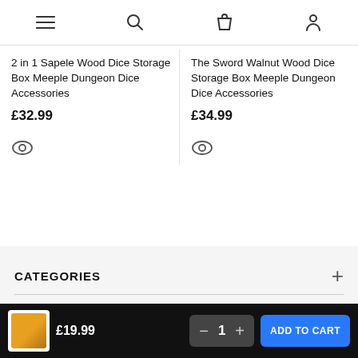Navigation bar with menu, search, cart, and account icons
2 in 1 Sapele Wood Dice Storage Box Meeple Dungeon Dice Accessories
£32.99
The Sword Walnut Wood Dice Storage Box Meeple Dungeon Dice Accessories
£34.99
CATEGORIES
HELP
£19.99
ADD TO CART